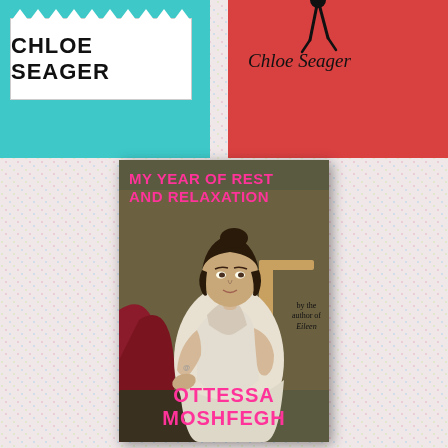[Figure (illustration): Top-left book cover: teal background with torn paper notepad design showing 'CHLOE SEAGER' in bold black uppercase letters]
[Figure (illustration): Top-right book cover: red background with small walking figure silhouette and 'Chloe Seager' in italic serif font]
[Figure (illustration): Center book cover: 'My Year of Rest and Relaxation' by Ottessa Moshfegh — features a classical painting of a woman in white dress seated, with pink title text and author name, subtitle 'by the author of Eileen']